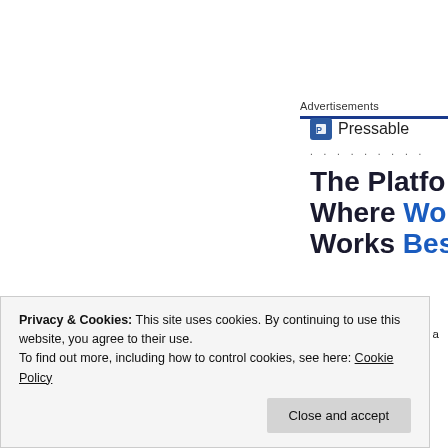Advertisements
[Figure (logo): Pressable logo with icon and text]
. . . . . . . . .
The Platform Where WordPress Works Best
meanwhile, cook your rice. white rice is generally a 2:1 rice is too, but it takes longer to cook (usually around 4
Privacy & Cookies: This site uses cookies. By continuing to use this website, you agree to their use. To find out more, including how to control cookies, see here: Cookie Policy
Close and accept